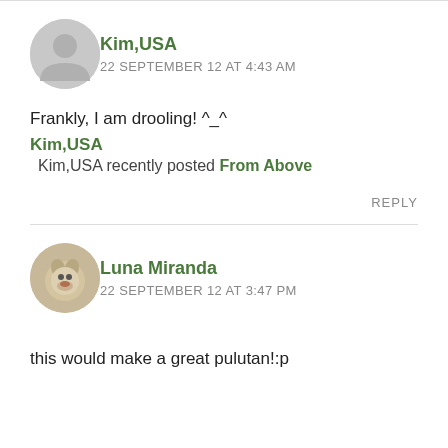Kim,USA
22 SEPTEMBER 12 AT 4:43 AM
Frankly, I am drooling! ^_^
Kim,USA
Kim,USA recently posted From Above
REPLY
Luna Miranda
22 SEPTEMBER 12 AT 3:47 PM
this would make a great pulutan!:p